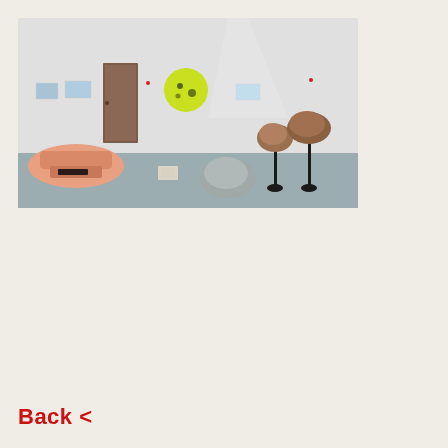[Figure (photo): Art gallery installation view showing a white room with grey floor. On the left is a large pink sculptural form resembling a cartoon mouth/jaw. On the back wall hang small framed works and a yellow-green circular piece. In the center-right of the floor are grey rocks/stones, and two brown rock-like forms mounted on tall black stands.]
Back <